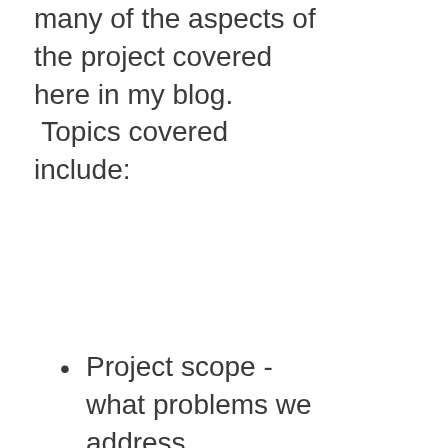many of the aspects of the project covered here in my blog. Topics covered include:
Project scope - what problems we address
Architecture overview
Why it's incredibly scalable
Continuous